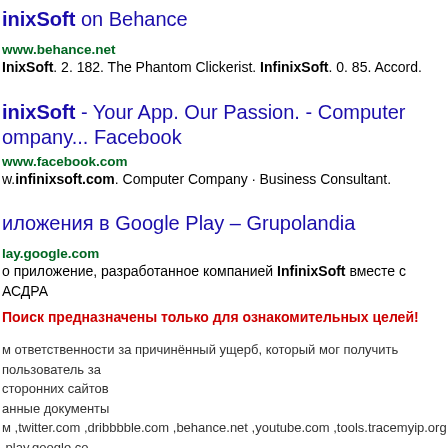InfinixSoft on Behance
www.behance.net
InixSoft. 2. 182. The Phantom Clickerist. InfinixSoft. 0. 85. Accord.
InfinixSoft - Your App. Our Passion. - Computer Company... Facebook
www.facebook.com
w.infinixsoft.com. Computer Company · Business Consultant.
иложения в Google Play – Grupolandia
lay.google.com
о приложение, разработанное компанией InfinixSoft вместе с АСДРА
Поиск предназначены только для ознакомительных целей!
м ответственности за причинённый ущерб, который мог получить пользователь за сторонних сайтов
анные документы
м ,twitter.com ,dribbbble.com ,behance.net ,youtube.com ,tools.tracemyip.org ,play.google.com be.com ,